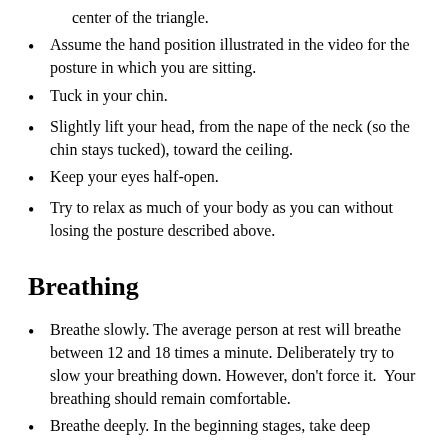center of the triangle.
Assume the hand position illustrated in the video for the posture in which you are sitting.
Tuck in your chin.
Slightly lift your head, from the nape of the neck (so the chin stays tucked), toward the ceiling.
Keep your eyes half-open.
Try to relax as much of your body as you can without losing the posture described above.
Breathing
Breathe slowly. The average person at rest will breathe between 12 and 18 times a minute. Deliberately try to slow your breathing down. However, don’t force it. Your breathing should remain comfortable.
Breathe deeply. In the beginning stages, take deep